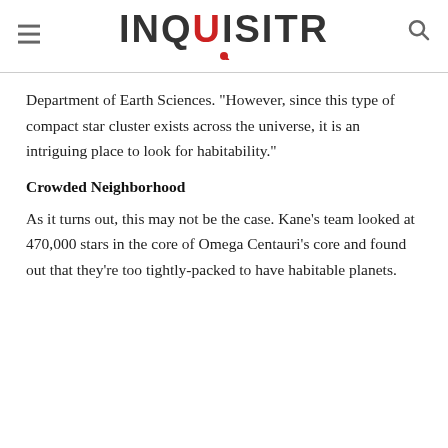INQUISITR
Department of Earth Sciences. "However, since this type of compact star cluster exists across the universe, it is an intriguing place to look for habitability."
Crowded Neighborhood
As it turns out, this may not be the case. Kane's team looked at 470,000 stars in the core of Omega Centauri's core and found out that they're too tightly-packed to have habitable planets.